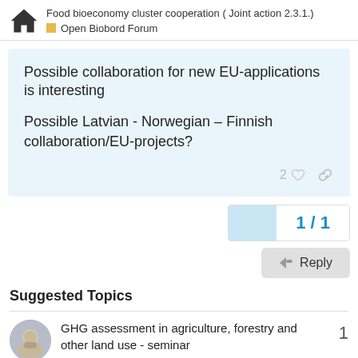Food bioeconomy cluster cooperation ( Joint action 2.3.1.) — Open Biobord Forum
Possible collaboration for new EU-applications is interesting

Possible Latvian - Norwegian – Finnish collaboration/EU-projects?
2 ♡ 🔗
1 / 1
Reply
Suggested Topics
GHG assessment in agriculture, forestry and other land use - seminar
Open Biobord Forum  technology  forest-bioeconomy  Oct '21  1